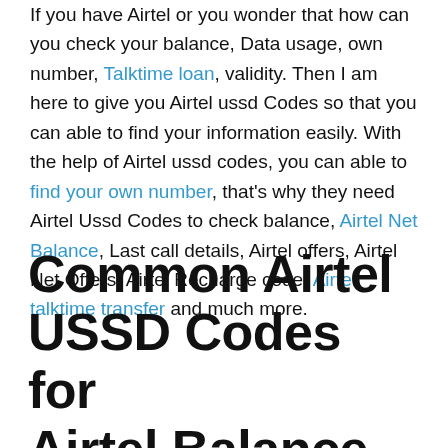If you have Airtel or you wonder that how can you check your balance, Data usage, own number, Talktime loan, validity. Then I am here to give you Airtel ussd Codes so that you can able to find your information easily. With the help of Airtel ussd codes, you can able to find your own number, that's why they need Airtel Ussd Codes to check balance, Airtel Net Balance, Last call details, Airtel offers, Airtel Net Offers, Airtel Recharge code, Airtel talktime transfer and much more.
Common Airtel USSD Codes for Airtel Balance